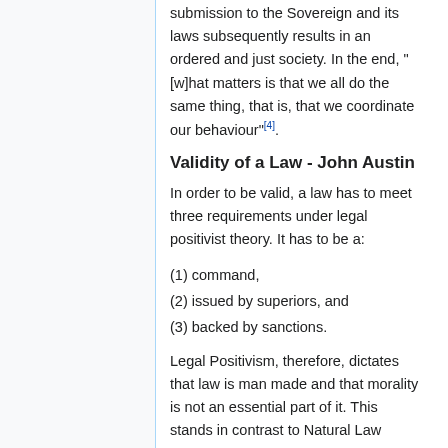submission to the Sovereign and its laws subsequently results in an ordered and just society. In the end, "[w]hat matters is that we all do the same thing, that is, that we coordinate our behaviour"[4].
Validity of a Law - John Austin
In order to be valid, a law has to meet three requirements under legal positivist theory. It has to be a:
(1) command,
(2) issued by superiors, and
(3) backed by sanctions.
Legal Positivism, therefore, dictates that law is man made and that morality is not an essential part of it. This stands in contrast to Natural Law theory, in which morality is very dominant. Valid laws